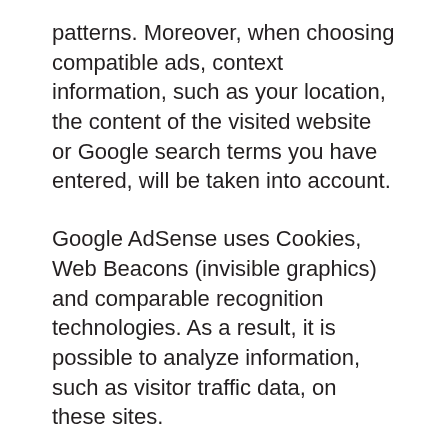patterns. Moreover, when choosing compatible ads, context information, such as your location, the content of the visited website or Google search terms you have entered, will be taken into account.
Google AdSense uses Cookies, Web Beacons (invisible graphics) and comparable recognition technologies. As a result, it is possible to analyze information, such as visitor traffic data, on these sites.
The usage information for this website (including your IP address) recorded by Google Adsense and delivery of advertising formats are transferred to a Google server in the United States, where the information is stored. Google may share this information